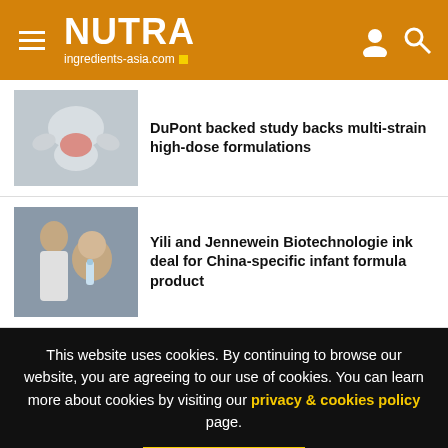NUTRA ingredients-asia.com
DuPont backed study backs multi-strain high-dose formulations
Yili and Jennewein Biotechnologie ink deal for China-specific infant formula product
This website uses cookies. By continuing to browse our website, you are agreeing to our use of cookies. You can learn more about cookies by visiting our privacy & cookies policy page.